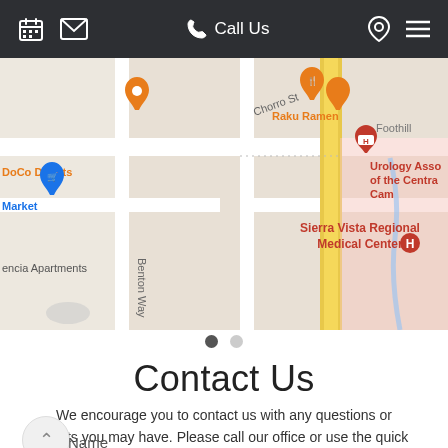Call Us
[Figure (map): Google Maps view showing Sierra Vista Regional Medical Center area with streets including Chorro St and Benton Way, nearby landmarks including Raku Ramen, DoCo Donuts, Market, Valencia Apartments, and Urology Associates of the Central Coast]
Contact Us
We encourage you to contact us with any questions or comments you may have. Please call our office or use the quick contact form below.
Name